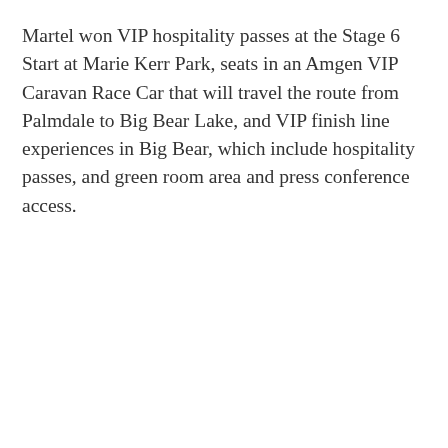Martel won VIP hospitality passes at the Stage 6 Start at Marie Kerr Park, seats in an Amgen VIP Caravan Race Car that will travel the route from Palmdale to Big Bear Lake, and VIP finish line experiences in Big Bear, which include hospitality passes, and green room area and press conference access.